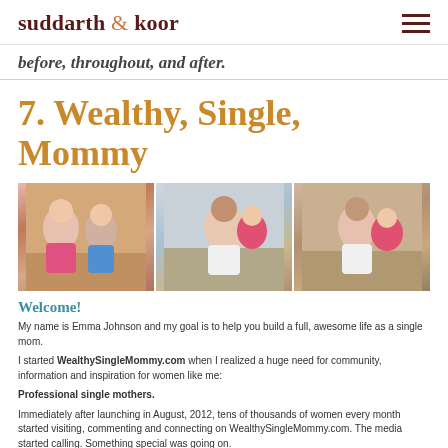suddarth & koor
before, throughout, and after.
7. Wealthy, Single, Mommy
[Figure (photo): Three-panel photo strip showing a woman with children in various poses outdoors]
Welcome!
My name is Emma Johnson and my goal is to help you build a full, awesome life as a single mom.
I started WealthySingleMommy.com when I realized a huge need for community, information and inspiration for women like me:
Professional single mothers.
Immediately after launching in August, 2012, tens of thousands of women every month started visiting, commenting and connecting on WealthySingleMommy.com. The media started calling. Something special was going on.
As you may guess, this blog is devoted to